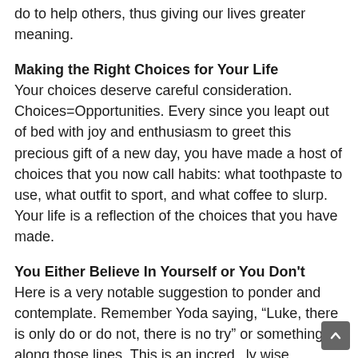do to help others, thus giving our lives greater meaning.
Making the Right Choices for Your Life
Your choices deserve careful consideration. Choices=Opportunities. Every since you leapt out of bed with joy and enthusiasm to greet this precious gift of a new day, you have made a host of choices that you now call habits: what toothpaste to use, what outfit to sport, and what coffee to slurp. Your life is a reflection of the choices that you have made.
You Either Believe In Yourself or You Don't
Here is a very notable suggestion to ponder and contemplate. Remember Yoda saying, “Luke, there is only do or do not, there is no try” or something along those lines. This is an incredibly wise statement. You either believe or you don't. It is pretty well